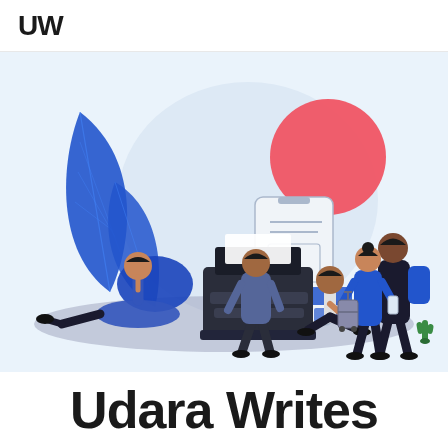UW
[Figure (illustration): Flat-style illustration on a light blue background showing several people around a vintage typewriter and a large smartphone mockup. Decorative blue leaves and shapes on the left. A large red/pink circle in the upper right. Characters include: a person lying on the ground near the typewriter, a person standing in the center, a crouching person in front of the phone mockup, and two people standing on the right looking at a device. A small green cactus plant in the lower right.]
Udara Writes